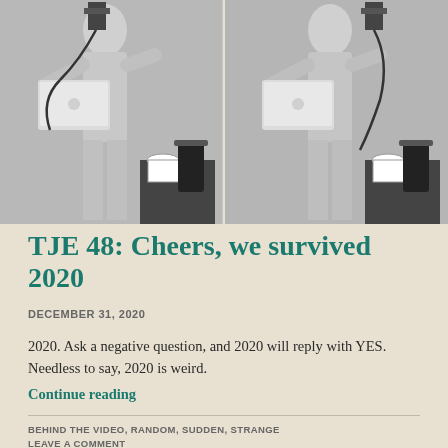[Figure (photo): Two side-by-side black and white photographs of a person holding a laptop and a camera/light, with a coffee table bearing a french press and cup in the background.]
TJE 48: Cheers, we survived 2020
DECEMBER 31, 2020
2020. Ask a negative question, and 2020 will reply with YES. Needless to say, 2020 is weird.
Continue reading
BEHIND THE VIDEO, RANDOM, SUDDEN, STRANGE
LEAVE A COMMENT